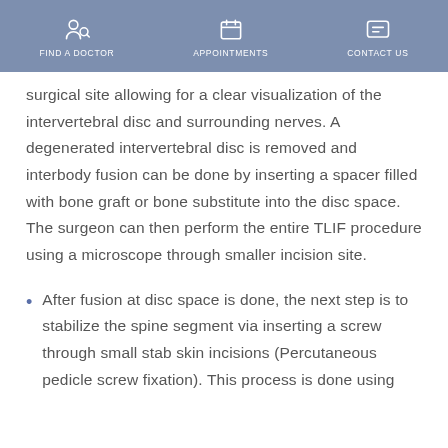FIND A DOCTOR   APPOINTMENTS   CONTACT US
surgical site allowing for a clear visualization of the intervertebral disc and surrounding nerves. A degenerated intervertebral disc is removed and interbody fusion can be done by inserting a spacer filled with bone graft or bone substitute into the disc space. The surgeon can then perform the entire TLIF procedure using a microscope through smaller incision site.
After fusion at disc space is done, the next step is to stabilize the spine segment via inserting a screw through small stab skin incisions (Percutaneous pedicle screw fixation). This process is done using